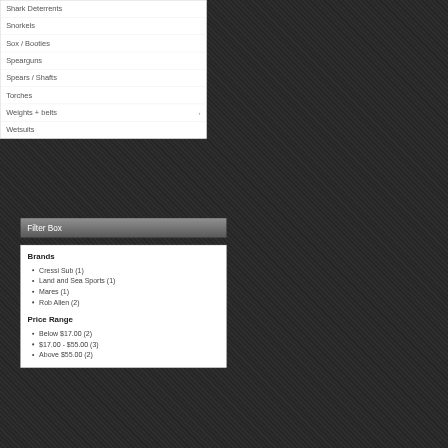Shark Deterrents
Snorkels
Sox / Booties
Spearguns
Spears / Shafts
Torches
Weights + belts
Wetsuits
Filter Box
Brands
Cressi Sub (1)
Land and Sea Sports (1)
Mares (1)
Rob Allen (2)
Price Range
Below $17.00 (2)
$17.00 - $55.00 (3)
Above $55.00 (2)